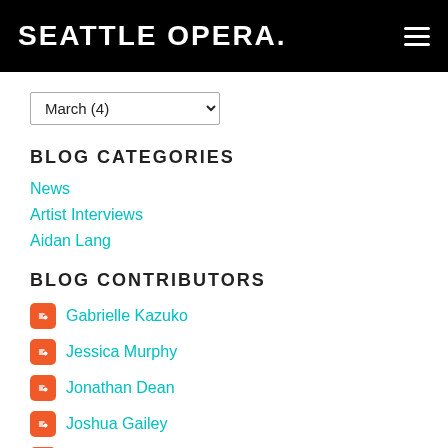SEATTLE OPERA.
March (4)
BLOG CATEGORIES
News
Artist Interviews
Aidan Lang
BLOG CONTRIBUTORS
Gabrielle Kazuko
Jessica Murphy
Jonathan Dean
Joshua Gailey
Seattle Opera